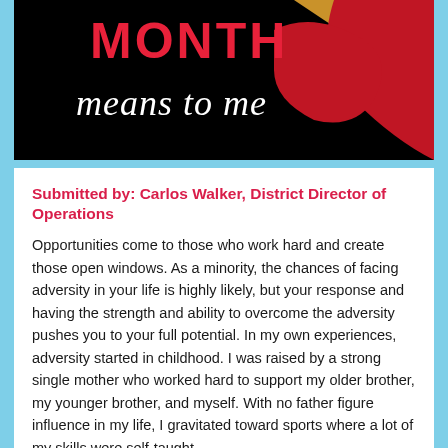[Figure (illustration): Black banner with red bold text 'MONTH' and white italic text 'means to me' below it. Decorative red and gold curved shapes in the top right corner.]
Submitted by: Carlos Walker, District Director of Operations
Opportunities come to those who work hard and create those open windows. As a minority, the chances of facing adversity in your life is highly likely, but your response and having the strength and ability to overcome the adversity pushes you to your full potential. In my own experiences, adversity started in childhood. I was raised by a strong single mother who worked hard to support my older brother, my younger brother, and myself. With no father figure influence in my life, I gravitated toward sports where a lot of my skills were self-taught,